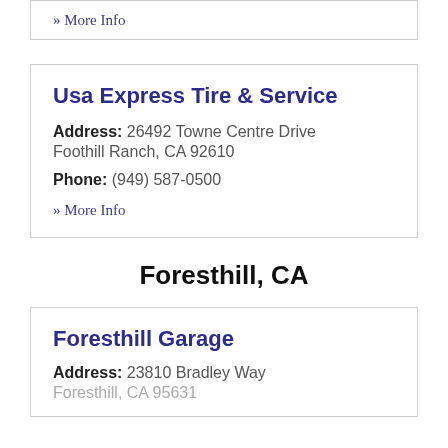» More Info
Usa Express Tire & Service
Address: 26492 Towne Centre Drive Foothill Ranch, CA 92610
Phone: (949) 587-0500
» More Info
Foresthill, CA
Foresthill Garage
Address: 23810 Bradley Way Foresthill, CA 95631